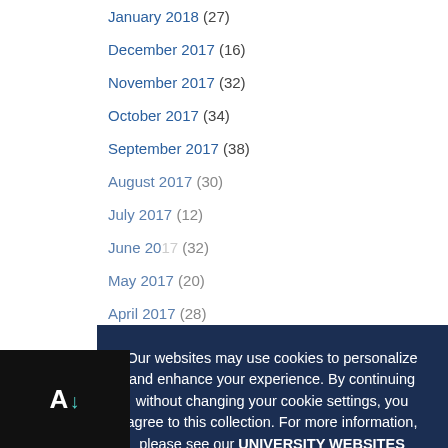January 2018 (27)
December 2017 (16)
November 2017 (32)
October 2017 (34)
September 2017 (38)
August 2017 (30)
July 2017 (12)
June 2017 (32)
May 2017 (20)
April 2017 (28)
March 2017 (21)
February 2017 (31)
January 2017 (23)
December 2016 (17)
November 2016 (49)
Our websites may use cookies to personalize and enhance your experience. By continuing without changing your cookie settings, you agree to this collection. For more information, please see our UNIVERSITY WEBSITES PRIVACY NOTICE.